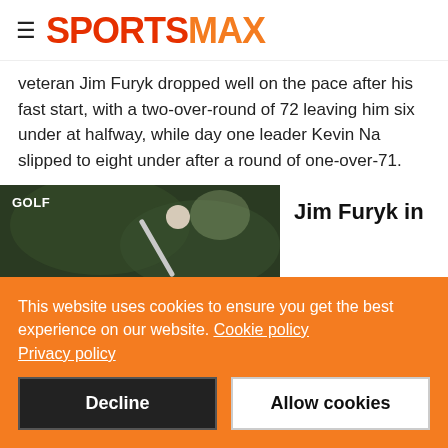SPORTSMAX
veteran Jim Furyk dropped well on the pace after his fast start, with a two-over-round of 72 leaving him six under at halfway, while day one leader Kevin Na slipped to eight under after a round of one-over-71.
[Figure (photo): Golf action photo showing a golfer swinging a club, with GOLF tag overlay]
Jim Furyk in
This website uses cookies to ensure you get the best experience on our website. Cookie policy Privacy policy
Decline
Allow cookies